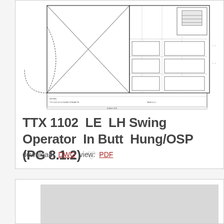[Figure (engineering-diagram): Engineering drawing/schematic of TTX 1102 LE LH Swing Operator In Butt Hung/OSP door operator, showing plan view with door swing arc and detailed mechanical components on the right side.]
TTX 1102  LE  LH Swing Operator  In Butt  Hung/OSP (PG 8.1.2)
download:  DWG  view:  PDF
[Figure (engineering-diagram): Partial engineering drawing, lower card showing a gray placeholder/diagram area.]